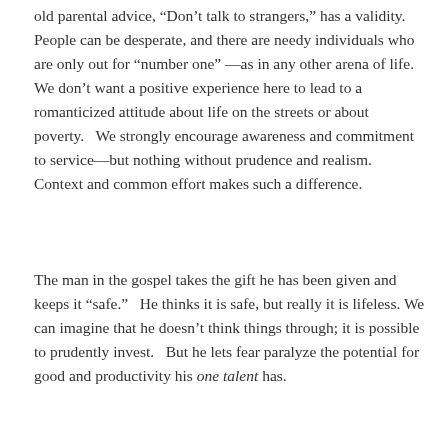old parental advice, “Don’t talk to strangers,” has a validity. People can be desperate, and there are needy individuals who are only out for “number one” —as in any other arena of life.   We don’t want a positive experience here to lead to a romanticized attitude about life on the streets or about poverty.   We strongly encourage awareness and commitment to service—but nothing without prudence and realism.  Context and common effort makes such a difference.
The man in the gospel takes the gift he has been given and keeps it “safe.”   He thinks it is safe, but really it is lifeless. We can imagine that he doesn’t think things through; it is possible to prudently invest.   But he lets fear paralyze the potential for good and productivity his one talent has.